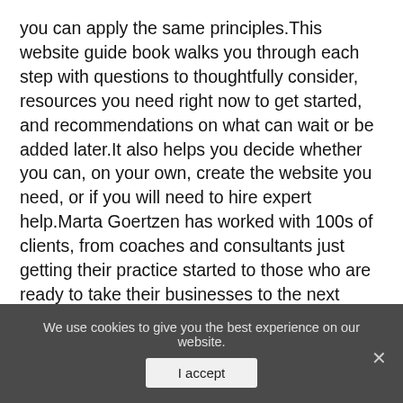you can apply the same principles.This website guide book walks you through each step with questions to thoughtfully consider, resources you need right now to get started, and recommendations on what can wait or be added later.It also helps you decide whether you can, on your own, create the website you need, or if you will need to hire expert help.Marta Goertzen has worked with 100s of clients, from coaches and consultants just getting their practice started to those who are ready to take their businesses to the next level–and need a website that can keep up with the changes.The book also includes a link to download The WordPress Website Discovery Workbook to help you keep track of your business and marketing goals, and how your website fits into those goals.Get started today, and enjoy
We use cookies to give you the best experience on our website.
I accept